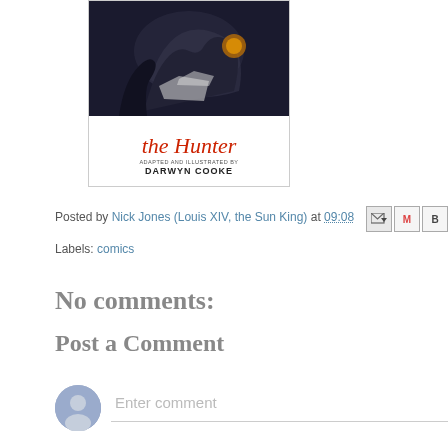[Figure (illustration): Book cover of 'The Hunter' by Darwyn Cooke. Top portion shows a dark noir-style illustration with figures. Bottom white section shows the title 'the Hunter' in red italic script, subtitle 'ADAPTED AND ILLUSTRATED BY' in small caps, and author name 'DARWYN COOKE' in bold capitals.]
Posted by Nick Jones (Louis XIV, the Sun King) at 09:08
Labels: comics
No comments:
Post a Comment
Enter comment